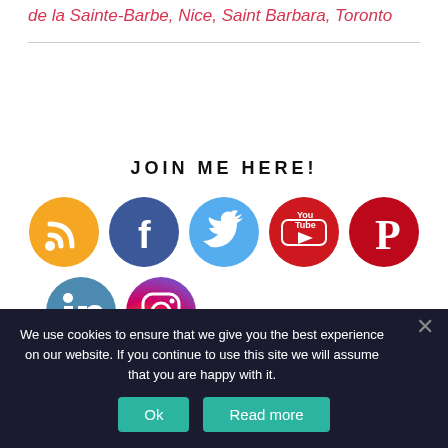de la Sainte-Barbe, Nice, Saint Barbara, Toronto
JOIN ME HERE!
[Figure (infographic): Row of social media icons: RSS (orange), Facebook (blue), Twitter (light blue), YouTube (red), Pinterest (red-orange), LinkedIn (blue), Instagram (gradient pink/purple/orange)]
We use cookies to ensure that we give you the best experience on our website. If you continue to use this site we will assume that you are happy with it.
Ok  Read more